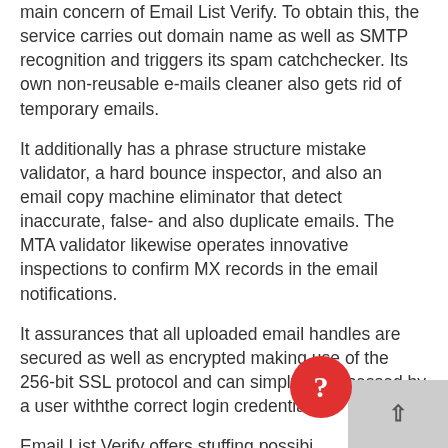main concern of Email List Verify. To obtain this, the service carries out domain name as well as SMTP recognition and triggers its spam catchchecker. Its own non-reusable e-mails cleaner also gets rid of temporary emails.
It additionally has a phrase structure mistake validator, a hard bounce inspector, and also an email copy machine eliminator that detect inaccurate, false- and also duplicate emails. The MTA validator likewise operates innovative inspections to confirm MX records in the email notifications.
It assurances that all uploaded email handles are secured as well as encrypted making use of the 256-bit SSL protocol and can simply be accessed by a user withthe correct login credentials.
Email List Verify offers stuffing possibilities that satisfy the consumer's requirements. It demands $4 per 1,000 e-mails and $3,290 for 10